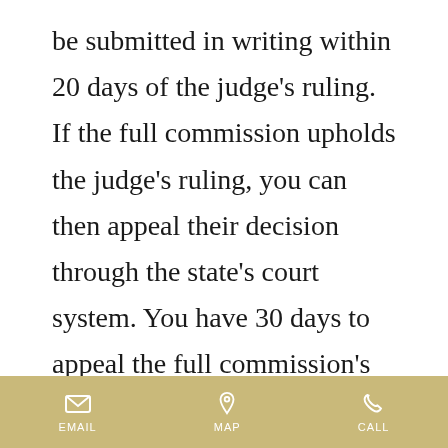be submitted in writing within 20 days of the judge's ruling. If the full commission upholds the judge's ruling, you can then appeal their decision through the state's court system. You have 30 days to appeal the full commission's decision and can appeal your denial all the way to the Mississippi Supreme Court.
EMAIL  MAP  CALL